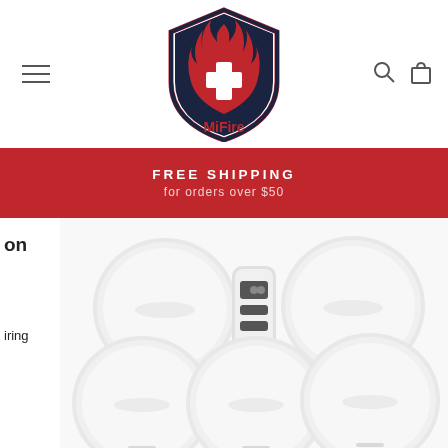[Figure (logo): MiFire brand shield logo with flame and medical cross, red and navy colors, with 'MiFire' text below]
FREE SHIPPING
for orders over $50
on
iring
[Figure (photo): Five round white smoke/fire detector discs and one small white remote control with three buttons, arranged on a white background, with adhesive mounting pads visible at bottom]